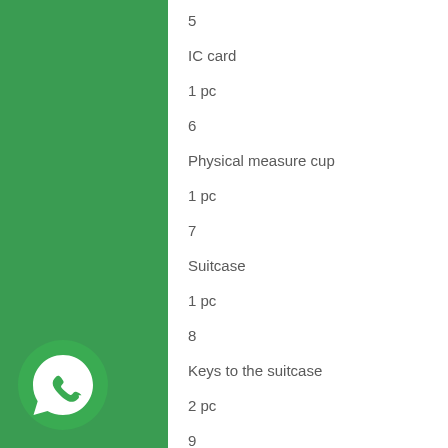5
IC card
1 pc
6
Physical measure cup
1 pc
7
Suitcase
1 pc
8
Keys to the suitcase
2 pc
9
Manual
[Figure (logo): WhatsApp logo icon in green circle with white phone handset]